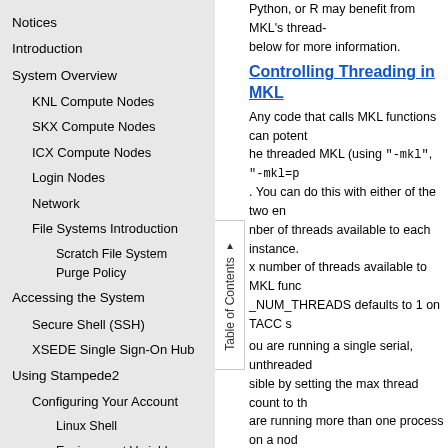Notices
Introduction
System Overview
KNL Compute Nodes
SKX Compute Nodes
ICX Compute Nodes
Login Nodes
Network
File Systems Introduction
Scratch File System Purge Policy
Accessing the System
Secure Shell (SSH)
XSEDE Single Sign-On Hub
Using Stampede2
Configuring Your Account
Linux Shell
Environment Variables
Python, or R may benefit from MKL's thread- below for more information.
Controlling Threading in MKL
Any code that calls MKL functions can potentially use the threaded MKL (using "-mkl", "-mkl=p ... You can do this with either of the two environments. Number of threads available to each instance. Max number of threads available to MKL functions. MKL_NUM_THREADS defaults to 1 on TACC systems. If you are running a single serial, unthreaded MKL job, avoid problems by setting the max thread count to the appropriate number. If you are running more than one process on a node, e.g., more than one MPI rank per node. See http://software.intel.c... examples of how to manage threading when
Using ScaLAPACK, Cluster FR
See "Working with the Intel Math Kernel Libra..."
Building for Performance c
Compiler
When building software on Stampede2, we re... than the defaults. Execute "module spider..."